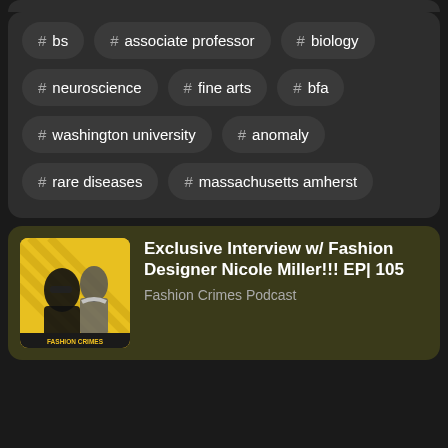# bs
# associate professor
# biology
# neuroscience
# fine arts
# bfa
# washington university
# anomaly
# rare diseases
# massachusetts amherst
Exclusive Interview w/ Fashion Designer Nicole Miller!!! EP| 105
Fashion Crimes Podcast